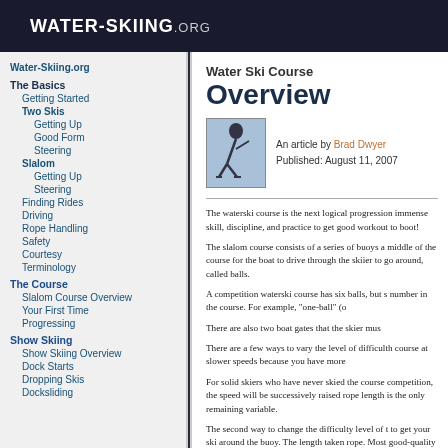WATER-SKIING.ORG
Water-Skiing.org
The Basics
Getting Started
Two Skis
Getting Up
Good Form
Steering
Slalom
Getting Up
Steering
Finding Rides
Driving
Rope Handling
Safety
Courtesy
Terminology
The Course
Slalom Course Overview
Your First Time
Progressing
Show Skiing
Show Skiing Overview
Dock Starts
Dropping Skis
Docksliding
Water Ski Course Overview
An article by Brad Dwyer
Published: August 11, 2007
[Figure (photo): Water skier performing on the water]
The waterski course is the next logical progression immense skill, discipline, and practice to get good workout to boot!
The slalom course consists of a series of buoys middle of the course for the boat to drive through the skiier to go around, called balls.
A competition waterski course has six balls, but s number in the course. For example, "one-ball" (o
There are also two boat gates that the skier mus
There are a few ways to vary the level of difficult course at slower speeds because you have more
For solid skiers who have never skied the course competition, the speed will be successively raise rope length is the only remaining variable.
The second way to change the difficulty level of t to get your ski around the buoy. The length taken rope. Most good-quality ski ropes will have sectio